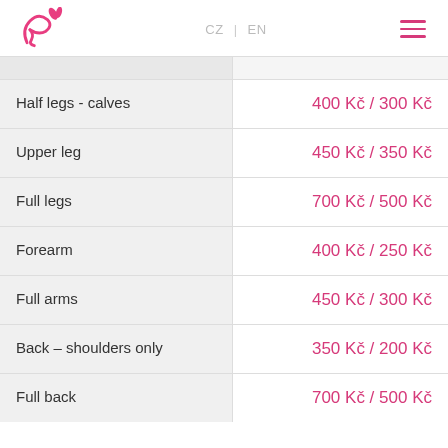Logo | CZ | EN | Menu
| Service | Price |
| --- | --- |
| Half legs - calves | 400 Kč / 300 Kč |
| Upper leg | 450 Kč / 350 Kč |
| Full legs | 700 Kč / 500 Kč |
| Forearm | 400 Kč / 250 Kč |
| Full arms | 450 Kč / 300 Kč |
| Back – shoulders only | 350 Kč / 200 Kč |
| Full back | 700 Kč / 500 Kč |